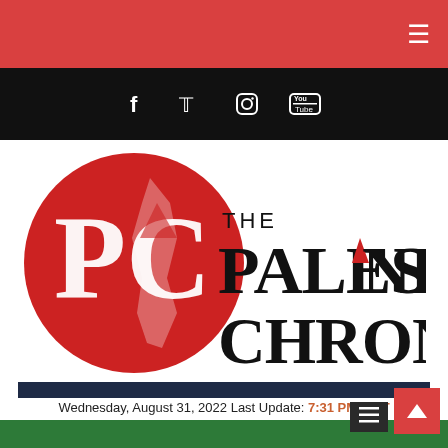The Palestine Chronicle - website header with hamburger menu
[Figure (logo): Social media icons bar: Facebook, Twitter, Instagram, YouTube on black background]
[Figure (logo): The Palestine Chronicle logo: red circle with PC letters and map of Palestine, beside bold text THE PALESTINE CHRONICLE]
[Figure (other): Dark navy banner strip partially visible]
Wednesday, August 31, 2022 Last Update: 7:31 PM GMT
Green footer bar with back-to-top red button